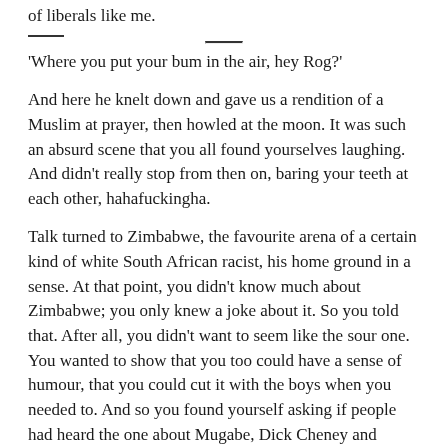of liberals like me.
'Where you put your bum in the air, hey Rog?'
And here he knelt down and gave us a rendition of a Muslim at prayer, then howled at the moon. It was such an absurd scene that you all found yourselves laughing. And didn't really stop from then on, baring your teeth at each other, hahafuckingha.
Talk turned to Zimbabwe, the favourite arena of a certain kind of white South African racist, his home ground in a sense. At that point, you didn't know much about Zimbabwe; you only knew a joke about it. So you told that. After all, you didn't want to seem like the sour one. You wanted to show that you too could have a sense of humour, that you could cut it with the boys when you needed to. And so you found yourself asking if people had heard the one about Mugabe, Dick Cheney and Phineas the gardener? You can't remember that joke now. Among the million